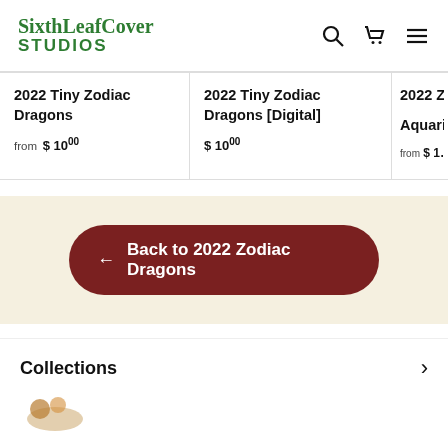[Figure (logo): SixthLeafCover Studios logo in green text]
2022 Tiny Zodiac Dragons
from $ 10.00
2022 Tiny Zodiac Dragons [Digital]
$ 10.00
2022 Z... Aquari...
from $ 1...
← Back to 2022 Zodiac Dragons
Collections
[Figure (illustration): Partial illustration/thumbnail at bottom left]